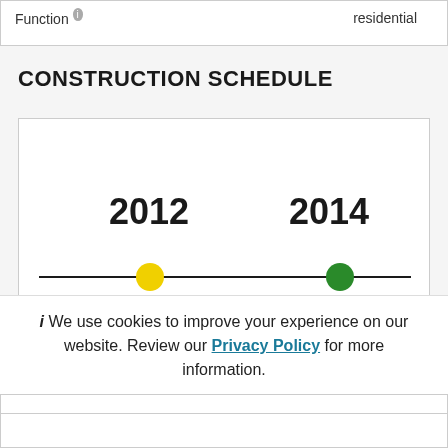| Function | residential |
| --- | --- |
CONSTRUCTION SCHEDULE
[Figure (infographic): Timeline showing years 2012 (yellow dot) and 2014 (green dot) on a horizontal line]
We use cookies to improve your experience on our website. Review our Privacy Policy for more information.
✓ Allow cookies